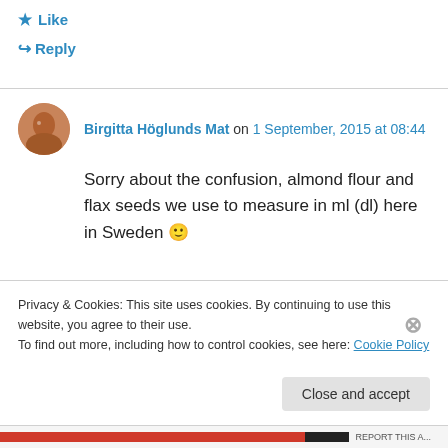★ Like
↪ Reply
Birgitta Höglunds Mat on 1 September, 2015 at 08:44
Sorry about the confusion, almond flour and flax seeds we use to measure in ml (dl) here in Sweden 🙂
Privacy & Cookies: This site uses cookies. By continuing to use this website, you agree to their use.
To find out more, including how to control cookies, see here: Cookie Policy
Close and accept